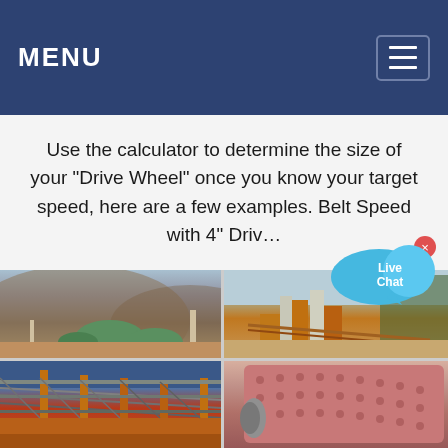MENU
Use the calculator to determine the size of your "Drive Wheel" once you know your target speed, here are a few examples. Belt Speed with 4" Driv…
[Figure (photo): Four-panel photo collage of industrial mining/crushing plant equipment. Top-left: outdoor mining site with green dome-shaped structures and machinery on hillside. Top-right: industrial crushing/screening plant with orange equipment, silos, and conveyors. Bottom-left: large conveyor belt structure with metal framework and orange supports. Bottom-right: close-up of pink/red cylindrical ball mill with studded drum surface.]
[Figure (infographic): Live Chat speech bubble button in blue/cyan color with 'Live Chat' text, positioned top-right over the photo collage.]